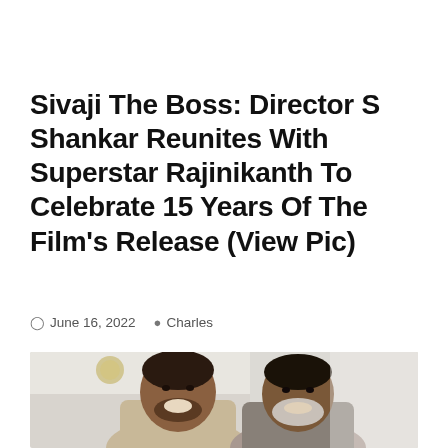Sivaji The Boss: Director S Shankar Reunites With Superstar Rajinikanth To Celebrate 15 Years Of The Film's Release (View Pic)
June 16, 2022   Charles
[Figure (photo): Two men smiling together indoors — director S Shankar on the left wearing a light beige shirt, and Rajinikanth on the right with a grey beard, both posing for a photo.]